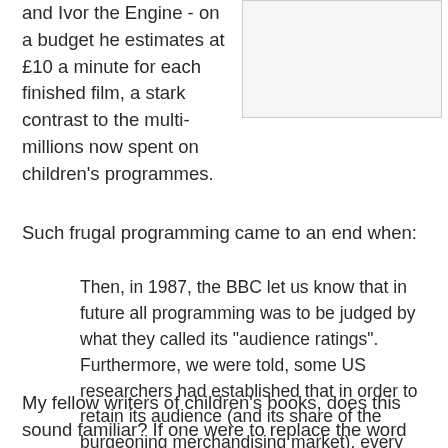and Ivor the Engine - on a budget he estimates at £10 a minute for each finished film, a stark contrast to the multi-millions now spent on children's programmes.
[Figure (other): A rectangular image placeholder with light grey background and border]
Such frugal programming came to an end when:
Then, in 1987, the BBC let us know that in future all programming was to be judged by what they called its "audience ratings". Furthermore, we were told, some US researchers had established that in order to retain its audience (and its share of the burgeoning merchandising market), every children's programme had to have a "hook", ie, a startling incident to hold the attention, every few seconds. As our films did not fit this category they were deemed not fit to be shown any more.
My fellow writers of children's books, does this sound familiar? If one were to replace the word "stations" with "children's" and think of the concerns of children's